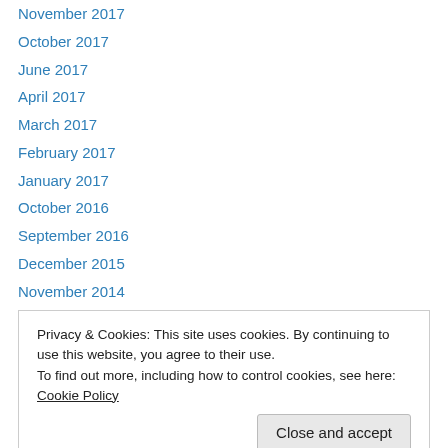November 2017
October 2017
June 2017
April 2017
March 2017
February 2017
January 2017
October 2016
September 2016
December 2015
November 2014
May 2014
April 2014
Privacy & Cookies: This site uses cookies. By continuing to use this website, you agree to their use. To find out more, including how to control cookies, see here: Cookie Policy
September 2013